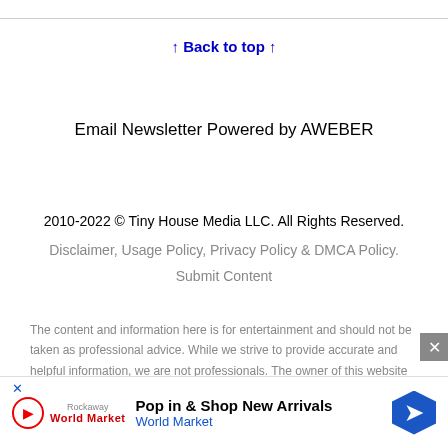↑ Back to top ↑
Email Newsletter Powered by AWEBER
2010-2022 © Tiny House Media LLC. All Rights Reserved.
Disclaimer, Usage Policy, Privacy Policy & DMCA Policy.
Submit Content
The content and information here is for entertainment and should not be taken as professional advice. While we strive to provide accurate and helpful information, we are not professionals. The owner of this website disclaims all warranties expressed or impl...
[Figure (other): Advertisement banner for World Market: Pop in & Shop New Arrivals]